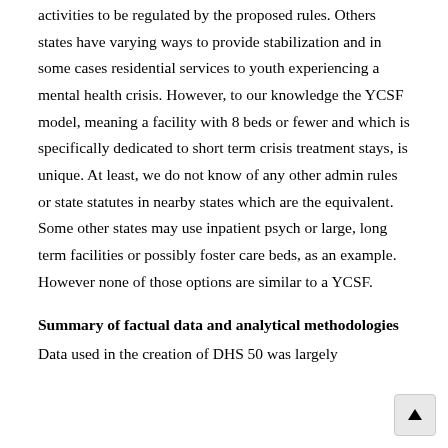activities to be regulated by the proposed rules. Others states have varying ways to provide stabilization and in some cases residential services to youth experiencing a mental health crisis. However, to our knowledge the YCSF model, meaning a facility with 8 beds or fewer and which is specifically dedicated to short term crisis treatment stays, is unique. At least, we do not know of any other admin rules or state statutes in nearby states which are the equivalent. Some other states may use inpatient psych or large, long term facilities or possibly foster care beds, as an example. However none of those options are similar to a YCSF.
Summary of factual data and analytical methodologies
Data used in the creation of DHS 50 was largely